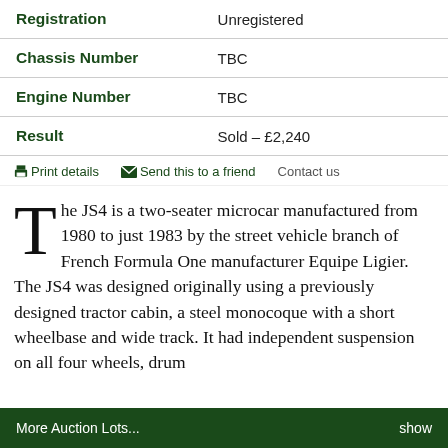| Field | Value |
| --- | --- |
| Registration | Unregistered |
| Chassis Number | TBC |
| Engine Number | TBC |
| Result | Sold – £2,240 |
Print details   Send this to a friend   Contact us
The JS4 is a two-seater microcar manufactured from 1980 to just 1983 by the street vehicle branch of French Formula One manufacturer Equipe Ligier. The JS4 was designed originally using a previously designed tractor cabin, a steel monocoque with a short wheelbase and wide track. It had independent suspension on all four wheels, drum
More Auction Lots...   show